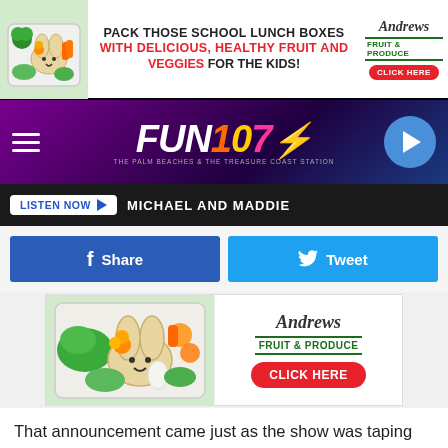[Figure (infographic): Top advertisement banner: lunchbox with bunny-shaped sandwich and veggies, text 'PACK THOSE SCHOOL LUNCH BOXES WITH DELICIOUS, HEALTHY FRUIT AND VEGGIES FOR THE KIDS!', Andrews Fruit & Produce logo with CLICK HERE button]
[Figure (logo): FUN 107 radio station logo with purple/dark gradient background, hamburger menu icon on left, play button on right]
LISTEN NOW  MICHAEL AND MADDIE
[Figure (infographic): Facebook Share button (blue) and Twitter Tweet button (light blue) side by side]
[Figure (photo): Advertisement photo showing lunchbox with bunny-shaped sandwich decorated with flower and vegetables, Andrews Fruit & Produce logo and CLICK HERE red button]
That announcement came just as the show was taping the Tournament of Champions episodes that are airing now and the contestants were clearly rocked by the news.
[Figure (infographic): Bottom advertisement banner: lunchbox photo, 'PACK THOSE SCHOOL LUNCH BOXES WITH DELICIOUS, HEALTHY FRUIT AND VEGGIES FOR THE KIDS!', Andrews Fruit & Produce logo with CLICK HERE button]